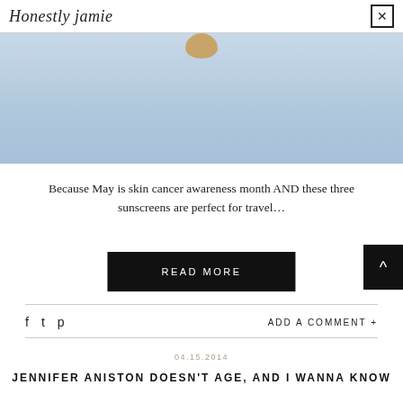Honestly Jamie
[Figure (photo): Close-up photo of what appears to be sunscreen or cosmetic products on a light blue/grey background]
Because May is skin cancer awareness month AND these three sunscreens are perfect for travel…
READ MORE
ADD A COMMENT +
04.15.2014
JENNIFER ANISTON DOESN'T AGE, AND I WANNA KNOW